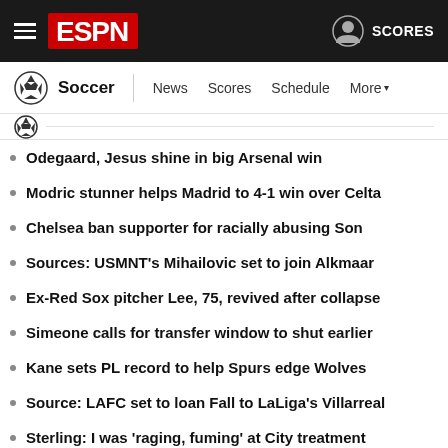ESPN Soccer – Navigation bar with hamburger menu, ESPN logo, user icon, SCORES
Soccer | News  Scores  Schedule  More
Odegaard, Jesus shine in big Arsenal win
Modric stunner helps Madrid to 4-1 win over Celta
Chelsea ban supporter for racially abusing Son
Sources: USMNT's Mihailovic set to join Alkmaar
Ex-Red Sox pitcher Lee, 75, revived after collapse
Simeone calls for transfer window to shut earlier
Kane sets PL record to help Spurs edge Wolves
Source: LAFC set to loan Fall to LaLiga's Villarreal
Sterling: I was 'raging, fuming' at City treatment
MLS logo strip